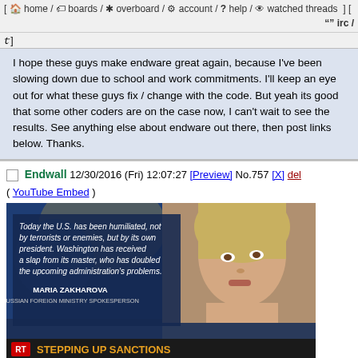[ home / boards / overboard / account / ? help / watched threads ] [ 99 irc / y ]
I hope these guys make endware great again, because I've been slowing down due to school and work commitments. I'll keep an eye out for what these guys fix / change with the code. But yeah its good that some other coders are on the case now, I can't wait to see the results. See anything else about endware out there, then post links below. Thanks.
Endwall 12/30/2016 (Fri) 12:07:27 [Preview] No.757 [X] del ( YouTube Embed )
[Figure (screenshot): Screenshot of RT news broadcast showing Maria Zakharova with quote: 'Today the U.S. has been humiliated, not by terrorists or enemies, but by its own president. Washington has received a slap from its master, who has doubled the upcoming administration's problems.' — MARIA ZAKHAROVA, RUSSIAN FOREIGN MINISTRY SPOKESPERSON. Banner reads: STEPPING UP SANCTIONS. Breaking news bar: FOR MORE NEWS HEAD TO RT.COM]
Endtube
endtube.sh version 0.41
https://github.com/endwall2/endware/raw/master/endtube.sh